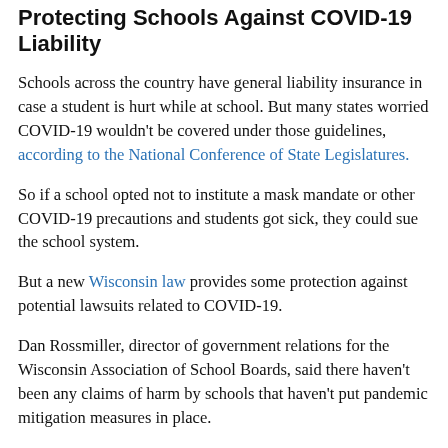Protecting Schools Against COVID-19 Liability
Schools across the country have general liability insurance in case a student is hurt while at school. But many states worried COVID-19 wouldn't be covered under those guidelines, according to the National Conference of State Legislatures.
So if a school opted not to institute a mask mandate or other COVID-19 precautions and students got sick, they could sue the school system.
But a new Wisconsin law provides some protection against potential lawsuits related to COVID-19.
Dan Rossmiller, director of government relations for the Wisconsin Association of School Boards, said there haven't been any claims of harm by schools that haven't put pandemic mitigation measures in place.
But the law has exemptions. Immunity from liability doesn't apply to reckless or intentional misconduct.